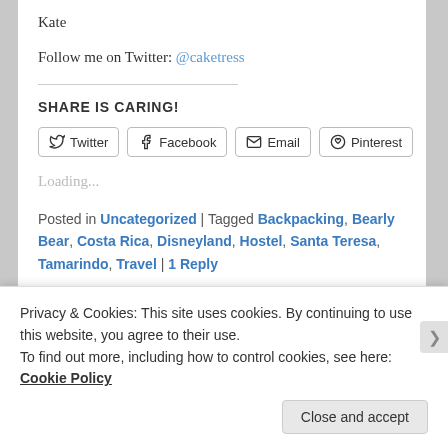Kate
Follow me on Twitter: @caketress
SHARE IS CARING!
Twitter   Facebook   Email   Pinterest
Loading...
Posted in Uncategorized | Tagged Backpacking, Bearly Bear, Costa Rica, Disneyland, Hostel, Santa Teresa, Tamarindo, Travel | 1 Reply
Privacy & Cookies: This site uses cookies. By continuing to use this website, you agree to their use.
To find out more, including how to control cookies, see here: Cookie Policy
Close and accept